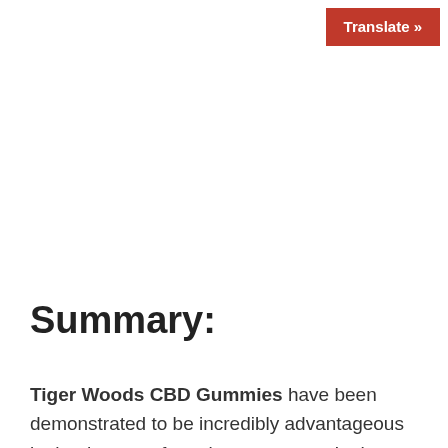Translate »
Summary:
Tiger Woods CBD Gummies have been demonstrated to be incredibly advantageous in the therapy of persistent torment. In the long haul, it will help you in lessening